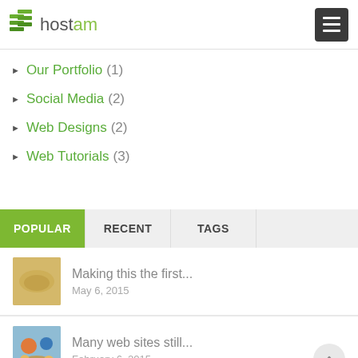[Figure (logo): Hostam website logo with green layered square icon and green text]
Our Portfolio (1)
Social Media (2)
Web Designs (2)
Web Tutorials (3)
POPULAR | RECENT | TAGS
Making this the first...
May 6, 2015
Many web sites still...
February 6, 2015